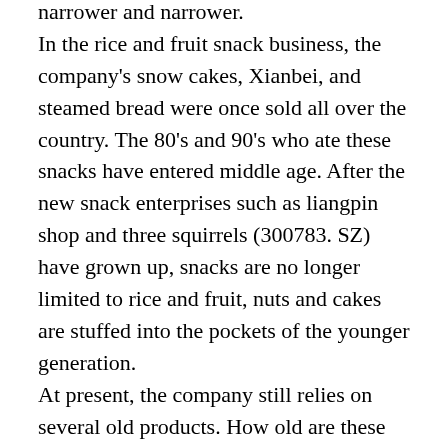narrower and narrower. In the rice and fruit snack business, the company's snow cakes, Xianbei, and steamed bread were once sold all over the country. The 80's and 90's who ate these snacks have entered middle age. After the new snack enterprises such as liangpin shop and three squirrels (300783. SZ) have grown up, snacks are no longer limited to rice and fruit, nuts and cakes are stuffed into the pockets of the younger generation. At present, the company still relies on several old products. How old are these products? It is reported that Wangzai steamed bread was born in 1994, Wangzai milk was launched in 1996, Wangwang snow cake was born in 1984, and Wangwang Xianbei was born in